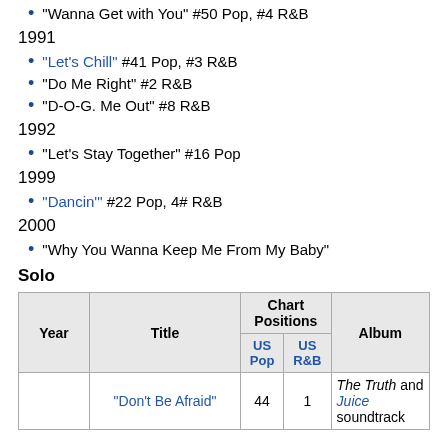"Wanna Get with You" #50 Pop, #4 R&B
1991
"Let's Chill" #41 Pop, #3 R&B
"Do Me Right" #2 R&B
"D-O-G. Me Out" #8 R&B
1992
"Let's Stay Together" #16 Pop
1999
"Dancin'" #22 Pop, 4# R&B
2000
"Why You Wanna Keep Me From My Baby"
Solo
| Year | Title | Chart Positions / US Pop | Chart Positions / US R&B | Album |
| --- | --- | --- | --- | --- |
|  | "Don't Be Afraid" | 44 | 1 | The Truth and Juice soundtrack |